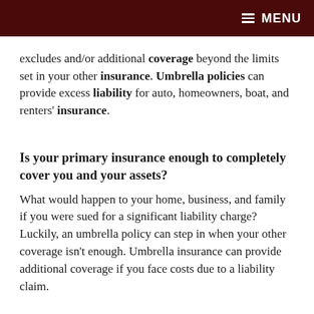≡ MENU
excludes and/or additional coverage beyond the limits set in your other insurance. Umbrella policies can provide excess liability for auto, homeowners, boat, and renters' insurance.
Is your primary insurance enough to completely cover you and your assets?
What would happen to your home, business, and family if you were sued for a significant liability charge? Luckily, an umbrella policy can step in when your other coverage isn't enough. Umbrella insurance can provide additional coverage if you face costs due to a liability claim.